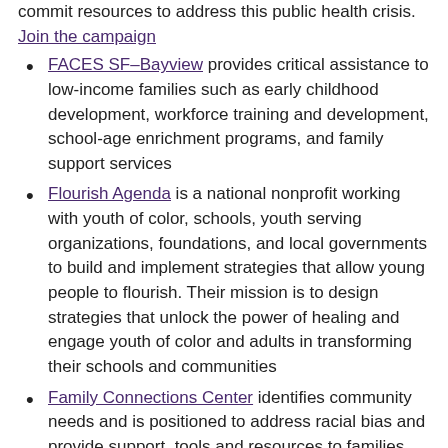commit resources to address this public health crisis. Join the campaign
FACES SF–Bayview provides critical assistance to low-income families such as early childhood development, workforce training and development, school-age enrichment programs, and family support services
Flourish Agenda is a national nonprofit working with youth of color, schools, youth serving organizations, foundations, and local governments to build and implement strategies that allow young people to flourish. Their mission is to design strategies that unlock the power of healing and engage youth of color and adults in transforming their schools and communities
Family Connections Center identifies community needs and is positioned to address racial bias and provide support, tools and resources to families facing inequity during these challenging times.
Friends for Youth provides mentors for youth who need support. Mentors can help mentees improve academics and behavioral and emotional health. Mentorship can positively change the course of a youth's life.
Gray Area is a social and civic minded art organization and one of SF State community partners is recommitting themselves to respond to the needs of the most vulnerable and ensuring